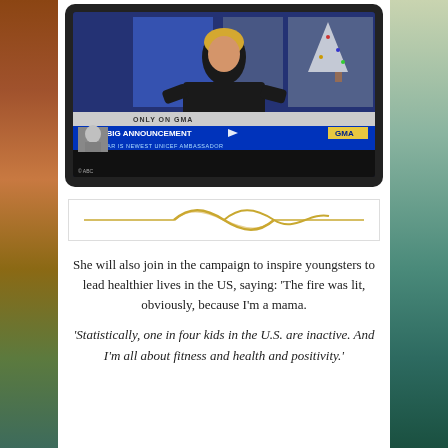[Figure (screenshot): TV screenshot from Good Morning America showing Pink in a black Nike outfit on a studio set. Lower-third banner reads 'ONLY ON GMA' and 'PINK'S BIG ANNOUNCEMENT' with subtitle 'SUPERSTAR IS NEWEST UNICEF AMBASSADOR' and GMA logo. Copyright ABC.]
[Figure (illustration): Decorative golden wave/ribbon divider element on white background with thin border]
She will also join in the campaign to inspire youngsters to lead healthier lives in the US, saying: ‘The fire was lit, obviously, because I’m a mama.
‘Statistically, one in four kids in the U.S. are inactive. And I’m all about fitness and health and positivity.'